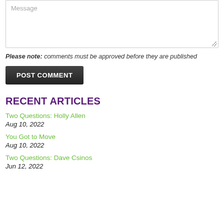Message
Please note: comments must be approved before they are published
POST COMMENT
RECENT ARTICLES
Two Questions: Holly Allen
Aug 10, 2022
You Got to Move
Aug 10, 2022
Two Questions: Dave Csinos
Jun 12, 2022